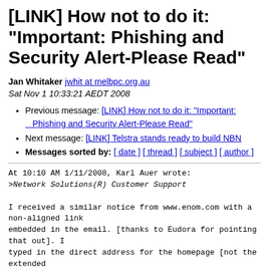[LINK] How not to do it: "Important: Phishing and Security Alert-Please Read"
Jan Whitaker jwhit at melbpc.org.au
Sat Nov 1 10:33:21 AEDT 2008
Previous message: [LINK] How not to do it: "Important: Phishing and Security Alert-Please Read"
Next message: [LINK] Telstra stands ready to build NBN
Messages sorted by: [ date ] [ thread ] [ subject ] [ author ]
At 10:10 AM 1/11/2008, Karl Auer wrote:
>Network Solutions(R) Customer Support

I received a similar notice from www.enom.com with a non-aligned link
embedded in the email. [thanks to Eudora for pointing that out]. I
typed in the direct address for the homepage [not the extended
phishing version] and found out they are a registrar. I